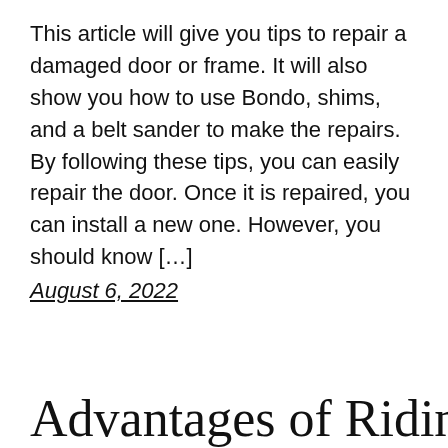This article will give you tips to repair a damaged door or frame. It will also show you how to use Bondo, shims, and a belt sander to make the repairs. By following these tips, you can easily repair the door. Once it is repaired, you can install a new one. However, you should know […]
August 6, 2022
Advantages of Riding